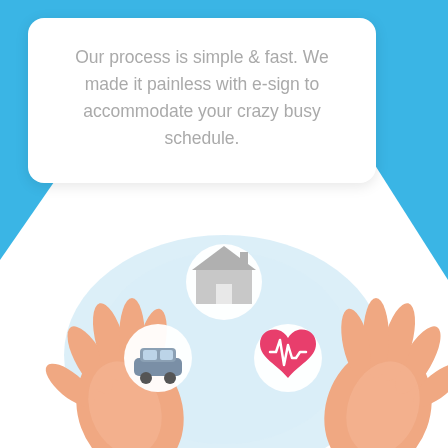Our process is simple & fast. We made it painless with e-sign to accommodate your crazy busy schedule.
[Figure (illustration): Two cupped hands holding three circular icons: a house icon (home insurance), a car icon (auto insurance), and a heart with ECG line icon (health insurance), set against layered light blue circular backgrounds.]